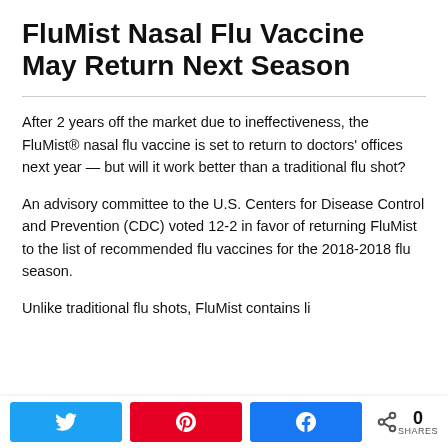FluMist Nasal Flu Vaccine May Return Next Season
After 2 years off the market due to ineffectiveness, the FluMist® nasal flu vaccine is set to return to doctors' offices next year — but will it work better than a traditional flu shot?
An advisory committee to the U.S. Centers for Disease Control and Prevention (CDC) voted 12-2 in favor of returning FluMist to the list of recommended flu vaccines for the 2018-2018 flu season.
Unlike traditional flu shots, FluMist contains live...